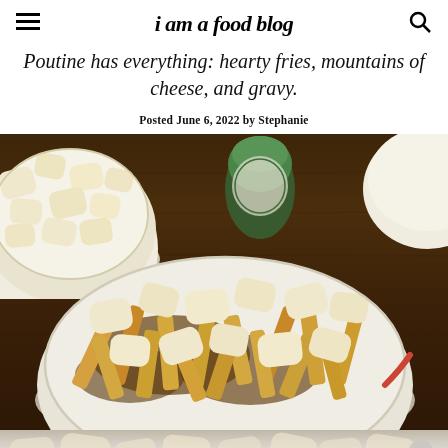i am a food blog
Poutine has everything: hearty fries, mountains of cheese, and gravy.
Posted June 6, 2022 by Stephanie
[Figure (photo): Photo of poutine dish with cheese curds and fries in gravy in a white bowl, with a separate bowl of cheese curds in the upper left, on a dark wooden table. A green bottle is visible in the background. The bottom shows a partial view of more cheese curds.]